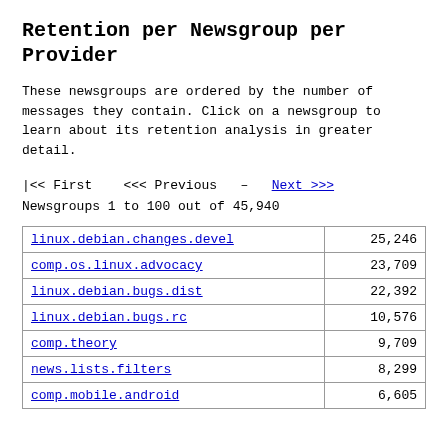Retention per Newsgroup per Provider
These newsgroups are ordered by the number of messages they contain. Click on a newsgroup to learn about its retention analysis in greater detail.
|<< First   <<< Previous  –  Next >>>
Newsgroups 1 to 100 out of 45,940
| Newsgroup | Count |
| --- | --- |
| linux.debian.changes.devel | 25,246 |
| comp.os.linux.advocacy | 23,709 |
| linux.debian.bugs.dist | 22,392 |
| linux.debian.bugs.rc | 10,576 |
| comp.theory | 9,709 |
| news.lists.filters | 8,299 |
| comp.mobile.android | 6,605 |